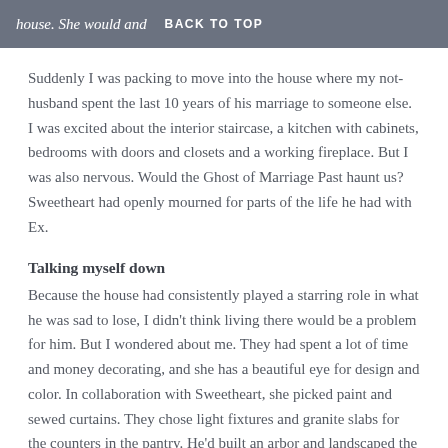house. She would and  BACK TO TOP
Suddenly I was packing to move into the house where my not-husband spent the last 10 years of his marriage to someone else. I was excited about the interior staircase, a kitchen with cabinets, bedrooms with doors and closets and a working fireplace. But I was also nervous. Would the Ghost of Marriage Past haunt us? Sweetheart had openly mourned for parts of the life he had with Ex.
Talking myself down
Because the house had consistently played a starring role in what he was sad to lose, I didn't think living there would be a problem for him. But I wondered about me. They had spent a lot of time and money decorating, and she has a beautiful eye for design and color. In collaboration with Sweetheart, she picked paint and sewed curtains. They chose light fixtures and granite slabs for the counters in the pantry. He'd built an arbor and landscaped the front